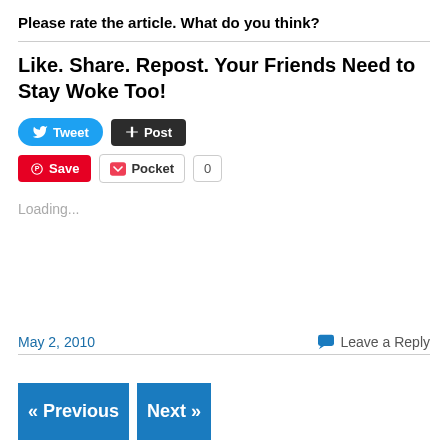Please rate the article. What do you think?
Like. Share. Repost. Your Friends Need to Stay Woke Too!
[Figure (screenshot): Social sharing buttons: Tweet (Twitter/blue), Post (Tumblr/black), Save (Pinterest/red), Pocket button, and count '0']
Loading...
May 2, 2010
Leave a Reply
« Previous
Next »